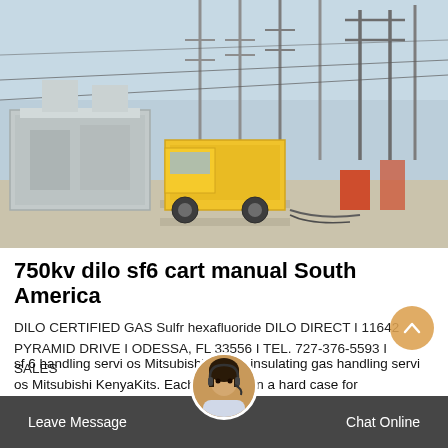[Figure (photo): Electrical substation with large grey transformer/capacitor equipment on left, yellow truck/service vehicle in center, power line towers in background, workers and orange equipment on right side. Outdoor industrial setting, sunny day.]
750kv dilo sf6 cart manual South America
DILO CERTIFIED GAS Sulfr hexafluoride DILO DIRECT I 11642 PYRAMID DRIVE I ODESSA, FL 33556 I TEL. 727-376-5593 I SALES
sf 6 handling servi os Mitsubishi Kenya insulating gas handling servi os Mitsubishi KenyaKits. Each is stored in a hard case for
Leave Message   Chat Online